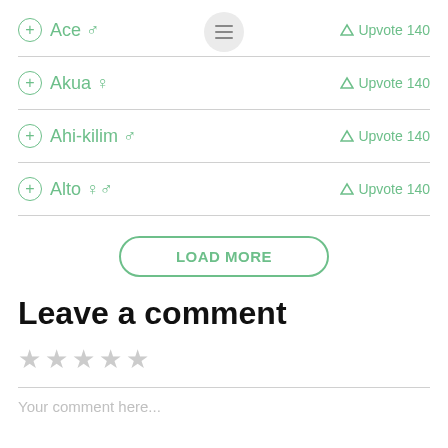Ace ♂ Upvote 140
Akua ♀ Upvote 140
Ahi-kilim ♂ Upvote 140
Alto ♀♂ Upvote 140
LOAD MORE
Leave a comment
★★★★★
Your comment here...